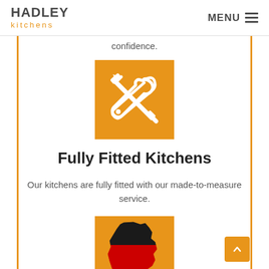HADLEY kitchens | MENU
confidence.
[Figure (illustration): Orange square icon with white crossed screwdriver and wrench tools]
Fully Fitted Kitchens
Our kitchens are fully fitted with our made-to-measure service.
[Figure (illustration): Orange square icon showing Germany map shape with German flag colors (black, red, yellow)]